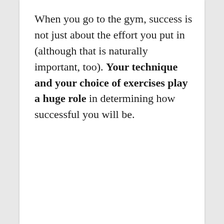When you go to the gym, success is not just about the effort you put in (although that is naturally important, too). Your technique and your choice of exercises play a huge role in determining how successful you will be.